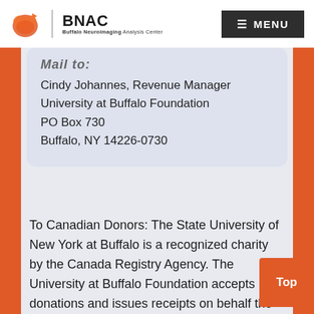BNAC - Buffalo Neuroimaging Analysis Center | MENU
Mail to:
Cindy Johannes, Revenue Manager
University at Buffalo Foundation
PO Box 730
Buffalo, NY 14226-0730
To Canadian Donors: The State University of New York at Buffalo is a recognized charity by the Canada Registry Agency. The University at Buffalo Foundation accepts donations and issues receipts on behalf the State University at Buffalo.